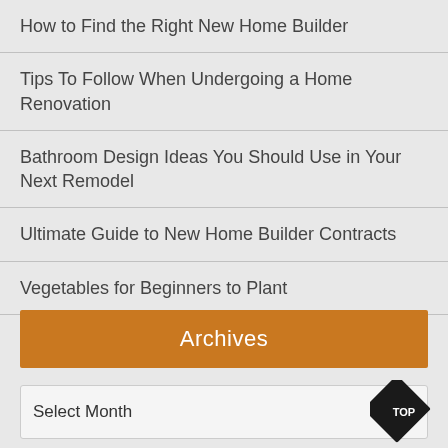How to Find the Right New Home Builder
Tips To Follow When Undergoing a Home Renovation
Bathroom Design Ideas You Should Use in Your Next Remodel
Ultimate Guide to New Home Builder Contracts
Vegetables for Beginners to Plant
Archives
Select Month